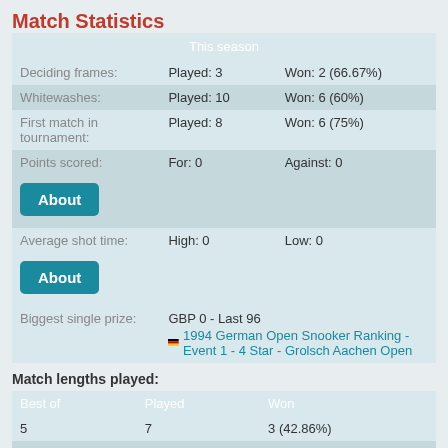Match Statistics
| This season |  |  |
| --- | --- | --- |
| Deciding frames: | Played: 3 | Won: 2 (66.67%) |
| Whitewashes: | Played: 10 | Won: 6 (60%) |
| First match in tournament: | Played: 8 | Won: 6 (75%) |
| Points scored: | For: 0 | Against: 0 |
| [About button] |  |  |
| Average shot time: | High: 0 | Low: 0 |
| [About button] |  |  |
| Biggest single prize: | GBP 0 - Last 96
[flag] 1994 German Open Snooker Ranking - Event 1 - 4 Star - Grolsch Aachen Open |  |
Match lengths played:
| Best of | Played | Won |
| --- | --- | --- |
| 5 | 7 | 3 (42.86%) |
| 3 | 10 | 6 (60%) |